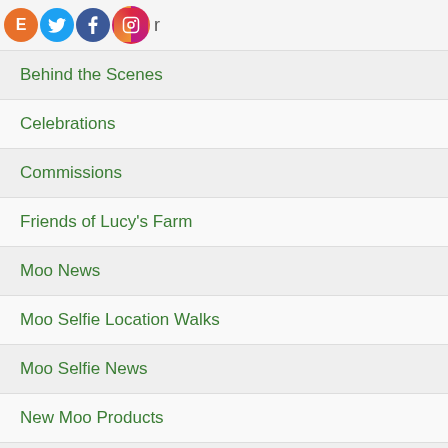E [twitter][facebook][instagram] r
Behind the Scenes
Celebrations
Commissions
Friends of Lucy's Farm
Moo News
Moo Selfie Location Walks
Moo Selfie News
New Moo Products
Press Coverage